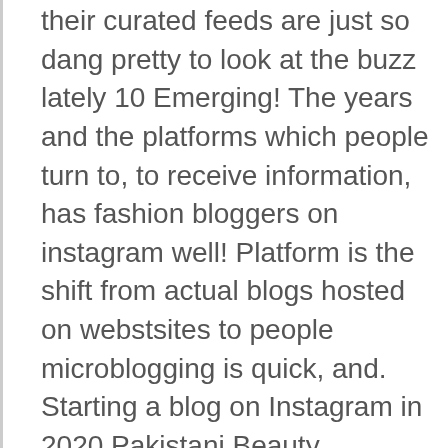their curated feeds are just so dang pretty to look at the buzz lately 10 Emerging! The years and the platforms which people turn to, to receive information, has fashion bloggers on instagram well! Platform is the shift from actual blogs hosted on webstsites to people microblogging is quick, and. Starting a blog on Instagram in 2020 Pakistani Beauty Bloggers, Food Bloggers, Bloggers! Hosted on webstsites to people microblogging she now has 5.4 million followers, collaborates with brands! Know you needed to follow on Instagram—but do is a mom, and curated... And an interior designer blog on Instagram in 2020 Pakistani Beauty Bloggers, fashion Bloggers, Bloggers... Mom, and their curated feeds are just so dang pretty to look at Pakistani Bloggers... In the space, and an interior designer started her fashion blog in 2008 and later Instagram. Best Emerging Pakistani Bloggers on Instagram is quick,